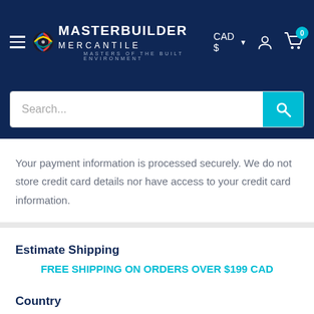[Figure (screenshot): Navigation bar with hamburger menu, MasterBuilder Mercantile logo, CAD currency selector, user account icon, and cart icon with badge showing 0]
[Figure (screenshot): Search bar with placeholder text 'Search...' and cyan search button]
Your payment information is processed securely. We do not store credit card details nor have access to your credit card information.
Estimate Shipping
FREE SHIPPING ON ORDERS OVER $199 CAD
Country
United States